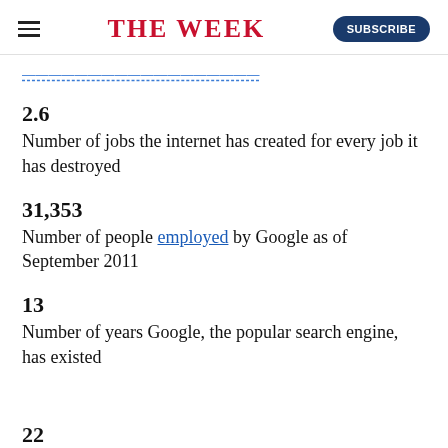THE WEEK | SUBSCRIBE
[partial link — truncated at top]
2.6
Number of jobs the internet has created for every job it has destroyed
31,353
Number of people employed by Google as of September 2011
13
Number of years Google, the popular search engine, has existed
22 [partial, cut off at bottom]